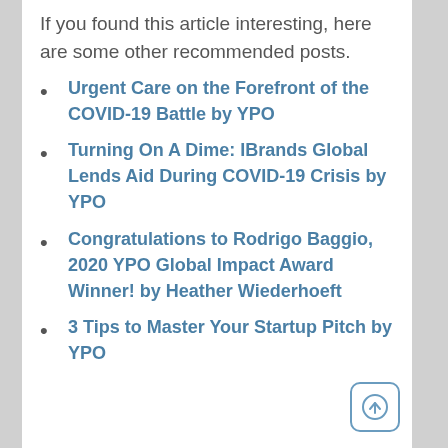If you found this article interesting, here are some other recommended posts.
Urgent Care on the Forefront of the COVID-19 Battle by YPO
Turning On A Dime: IBrands Global Lends Aid During COVID-19 Crisis by YPO
Congratulations to Rodrigo Baggio, 2020 YPO Global Impact Award Winner! by Heather Wiederhoeft
3 Tips to Master Your Startup Pitch by YPO